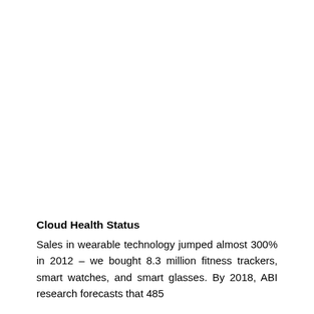Cloud Health Status
Sales in wearable technology jumped almost 300% in 2012 – we bought 8.3 million fitness trackers, smart watches, and smart glasses. By 2018, ABI research forecasts that 485